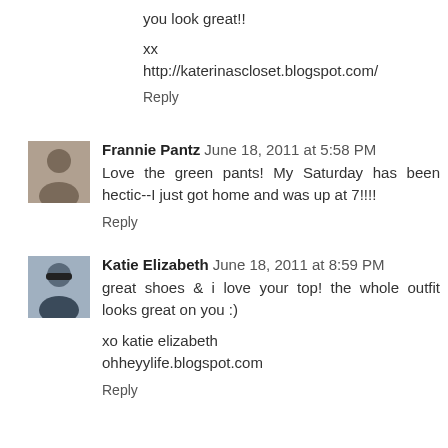you look great!!
xx
http://katerinascloset.blogspot.com/
Reply
Frannie Pantz  June 18, 2011 at 5:58 PM
Love the green pants! My Saturday has been hectic--I just got home and was up at 7!!!!
Reply
Katie Elizabeth  June 18, 2011 at 8:59 PM
great shoes & i love your top! the whole outfit looks great on you :)
xo katie elizabeth
ohheyylife.blogspot.com
Reply